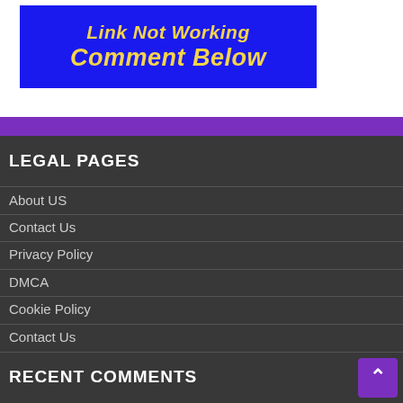[Figure (illustration): Blue banner image with yellow italic bold text reading 'Link Not Working Comment Below']
LEGAL PAGES
About US
Contact Us
Privacy Policy
DMCA
Cookie Policy
Contact Us
RECENT COMMENTS